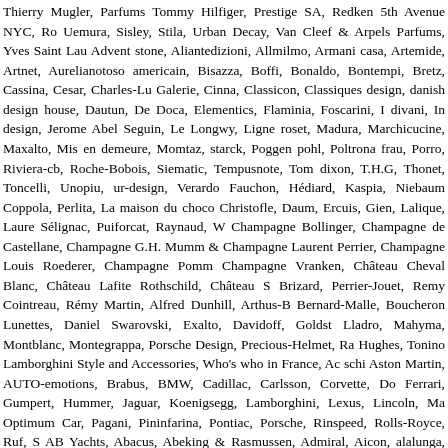Thierry Mugler, Parfums Tommy Hilfiger, Prestige SA, Redken 5th Avenue NYC, Ro Uemura, Sisley, Stila, Urban Decay, Van Cleef & Arpels Parfums, Yves Saint Lau Advent stone, Aliantedizioni, Allmilmo, Armani casa, Artemide, Artnet, Aurelianotoso americain, Bisazza, Boffi, Bonaldo, Bontempi, Bretz, Cassina, Cesar, Charles-Lu Galerie, Cinna, Classicon, Classiques design, danish design house, Dautun, De Doca, Elementics, Flaminia, Foscarini, I divani, In design, Jerome Abel Seguin, Le Longwy, Ligne roset, Madura, Marchicucine, Maxalto, Mis en demeure, Momtaz, starck, Poggen pohl, Poltrona frau, Porro, Riviera-cb, Roche-Bobois, Siematic, Tempusnote, Tom dixon, T.H.G, Thonet, Toncelli, Unopiu, ur-design, Verardo Fauchon, Hédiard, Kaspia, Niebaum Coppola, Perlita, La maison du choco Christofle, Daum, Ercuis, Gien, Lalique, Laure Sélignac, Puiforcat, Raynaud, W Champagne Bollinger, Champagne de Castellane, Champagne G.H. Mumm & Champagne Laurent Perrier, Champagne Louis Roederer, Champagne Pomm Champagne Vranken, Château Cheval Blanc, Château Lafite Rothschild, Château S Brizard, Perrier-Jouet, Remy Cointreau, Rémy Martin, Alfred Dunhill, Arthus-B Bernard-Malle, Boucheron Lunettes, Daniel Swarovski, Exalto, Davidoff, Goldst Lladro, Mahyma, Montblanc, Montegrappa, Porsche Design, Precious-Helmet, Ra Hughes, Tonino Lamborghini Style and Accessories, Who's who in France, Ac schi Aston Martin, AUTO-emotions, Brabus, BMW, Cadillac, Carlsson, Corvette, Do Ferrari, Gumpert, Hummer, Jaguar, Koenigsegg, Lamborghini, Lexus, Lincoln, Ma Optimum Car, Pagani, Pininfarina, Pontiac, Porsche, Rinspeed, Rolls-Royce, Ruf, S AB Yachts, Abacus, Abeking & Rasmussen, Admiral, Aicon, alalunga, Alenyachts, Astondoa, Azimut, Baglietto, Baia, Bandido Yachts, Benetti, Bertram, Bilgin, Bloems Yachts, Broward Marine, Buccaneer, Buddy Davis, Bugari, Burger Boat, C.N. Franco Calixas Yachts, Canados, Cantieri di Pisa, Carnevali, Cerri, Cheoy Lee, Christe Cortenzo Yachts, Couach, Crescent Custom Yachts, Cranchi, Cyrus Yachts, De